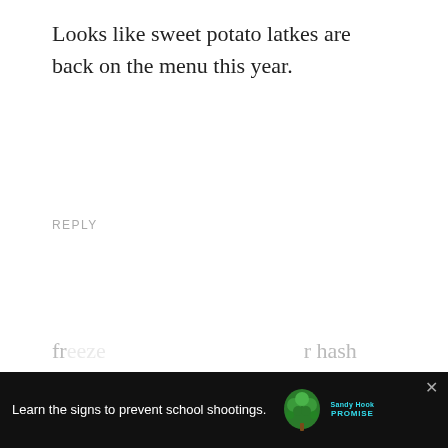Looks like sweet potato latkes are back on the menu this year.
REPLY
Teresa
August 19, 2014 at 7:47 am
So, just to be clear – you didn't have to blanch the potatoes before you cooked them?! I have always wanted to shred and fr... r hash b... ng I've
[Figure (screenshot): Advertisement banner: 'Learn the signs to prevent school shootings.' with Sandy Hook Promise logo and a close button (X). Partially overlaid on comment text.]